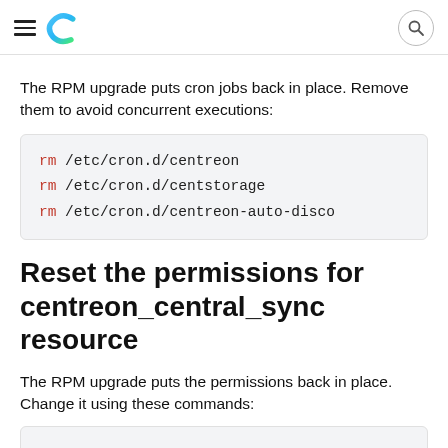Centreon logo and navigation header
The RPM upgrade puts cron jobs back in place. Remove them to avoid concurrent executions:
rm /etc/cron.d/centreon
rm /etc/cron.d/centstorage
rm /etc/cron.d/centreon-auto-disco
Reset the permissions for centreon_central_sync resource
The RPM upgrade puts the permissions back in place. Change it using these commands: